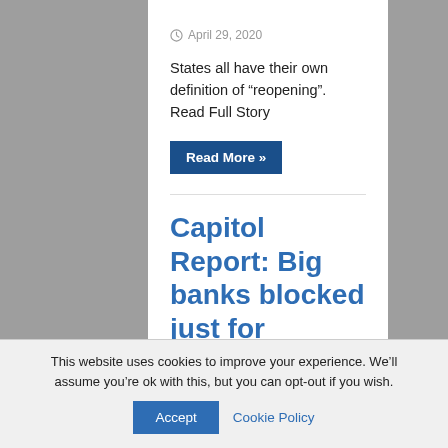April 29, 2020
States all have their own definition of “reopening”. Read Full Story
Read More »
Capitol Report: Big banks blocked just for tonight from loan program for small businesses
April 29, 2020
This website uses cookies to improve your experience. We’ll assume you’re ok with this, but you can opt-out if you wish.
Accept   Cookie Policy